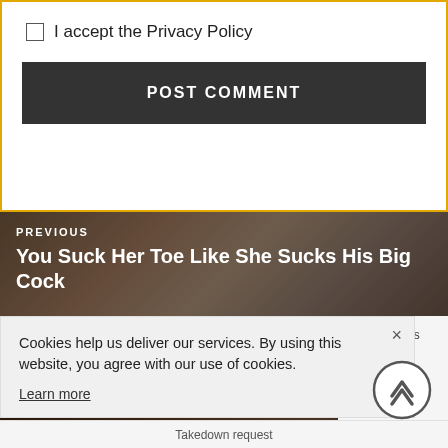I accept the Privacy Policy
POST COMMENT
PREVIOUS
You Suck Her Toe Like She Sucks His Big Cock
NEXT
All Dolled Up Hotwife Meet New Friend on Wedding Party
Cookies help us deliver our services. By using this website, you agree with our use of cookies.
Learn more
. This site has VE this site d. We are not illegal br nediately! This vacy tools |
Takedown request